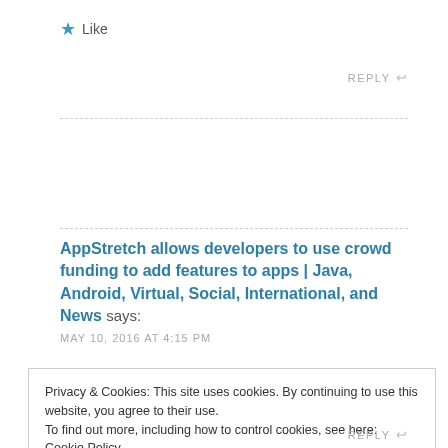★ Like
REPLY ↩
AppStretch allows developers to use crowd funding to add features to apps | Java, Android, Virtual, Social, International, and News says:
MAY 10, 2016 AT 4:15 PM
Privacy & Cookies: This site uses cookies. By continuing to use this website, you agree to their use.
To find out more, including how to control cookies, see here: Cookie Policy
Close and accept
REPLY ↩